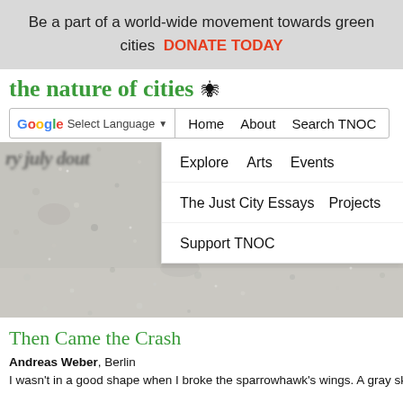Be a part of a world-wide movement towards green cities   DONATE TODAY
the nature of cities
[Figure (screenshot): Navigation bar with Google Translate widget and nav links: Home, About, Search TNOC]
[Figure (photo): Gravel/concrete texture photo background. A blurred italic heading text partially visible in top-left. A dropdown navigation menu overlaid on the right side showing: Explore, Arts, Events; The Just City Essays, Projects; Support TNOC]
Then Came the Crash
Andreas Weber, Berlin
I wasn't in a good shape when I broke the sparrowhawk's wings. A gray sky o